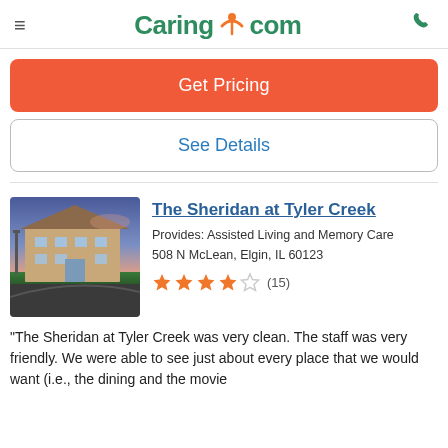Caring.com
Get Pricing
See Details
The Sheridan at Tyler Creek
Provides: Assisted Living and Memory Care
508 N McLean, Elgin, IL 60123
★★★★☆ (15)
"The Sheridan at Tyler Creek was very clean. The staff was very friendly. We were able to see just about every place that we would want (i.e., the dining and the movie